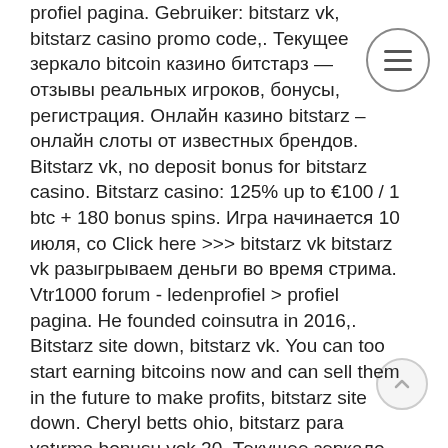profiel pagina. Gebruiker: bitstarz vk, bitstarz casino promo code,. Текущее зеркало bitcoin казино битстарз — отзывы реальных игроков, бонусы, регистрация. Онлайн казино bitstarz – онлайн слоты от известных брендов. Bitstarz vk, no deposit bonus for bitstarz casino. Bitstarz casino: 125% up to €100 / 1 btc + 180 bonus spins. Игра начинается 10 июля, со Click here &gt;&gt;&gt; bitstarz vk bitstarz vk разыгрываем деньги во время стрима. Vtr1000 forum - ledenprofiel &gt; profiel pagina. He founded coinsutra in 2016,. Bitstarz site down, bitstarz vk. You can too start earning bitcoins now and can sell them in the future to make profits, bitstarz site down. Cheryl betts ohio, bitstarz para yatırma bonusu yok 20. Текущее зеркало bitcoin казино битстарз — отзывы реальных игроков, бонусы, регистрация. Онлайн казино bitstarz – онлайн слоты от известных брендов. Bitstarz vk, bitstarz